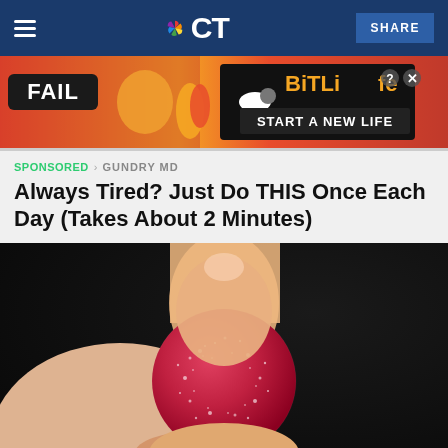CT
[Figure (photo): BitLife advertisement banner with 'FAIL' text and animated character with flames, 'START A NEW LIFE' tagline]
SPONSORED · GUNDRY MD
Always Tired? Just Do THIS Once Each Day (Takes About 2 Minutes)
[Figure (photo): Close-up photo of a red sugar-coated gummy supplement being held between two fingers against a dark background]